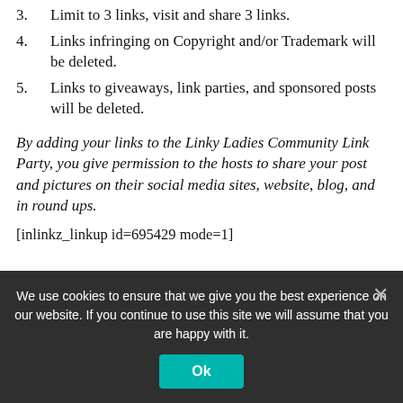3. Limit to 3 links, visit and share 3 links.
4. Links infringing on Copyright and/or Trademark will be deleted.
5. Links to giveaways, link parties, and sponsored posts will be deleted.
By adding your links to the Linky Ladies Community Link Party, you give permission to the hosts to share your post and pictures on their social media sites, website, blog, and in round ups.
[inlinkz_linkup id=695429 mode=1]
We use cookies to ensure that we give you the best experience on our website. If you continue to use this site we will assume that you are happy with it.